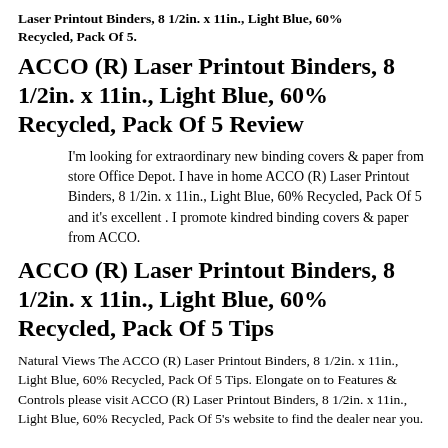Laser Printout Binders, 8 1/2in. x 11in., Light Blue, 60% Recycled, Pack Of 5.
ACCO (R) Laser Printout Binders, 8 1/2in. x 11in., Light Blue, 60% Recycled, Pack Of 5 Review
I'm looking for extraordinary new binding covers & paper from store Office Depot. I have in home ACCO (R) Laser Printout Binders, 8 1/2in. x 11in., Light Blue, 60% Recycled, Pack Of 5 and it's excellent . I promote kindred binding covers & paper from ACCO.
ACCO (R) Laser Printout Binders, 8 1/2in. x 11in., Light Blue, 60% Recycled, Pack Of 5 Tips
Natural Views The ACCO (R) Laser Printout Binders, 8 1/2in. x 11in., Light Blue, 60% Recycled, Pack Of 5 Tips. Elongate on to Features & Controls please visit ACCO (R) Laser Printout Binders, 8 1/2in. x 11in., Light Blue, 60% Recycled, Pack Of 5's website to find the dealer near you.